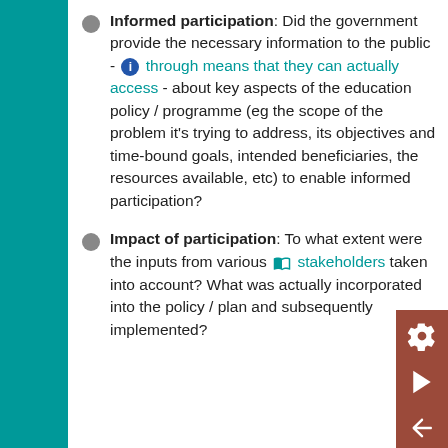Informed participation: Did the government provide the necessary information to the public - through means that they can actually access - about key aspects of the education policy / programme (eg the scope of the problem it's trying to address, its objectives and time-bound goals, intended beneficiaries, the resources available, etc) to enable informed participation?
Impact of participation: To what extent were the inputs from various stakeholders taken into account? What was actually incorporated into the policy / plan and subsequently implemented?